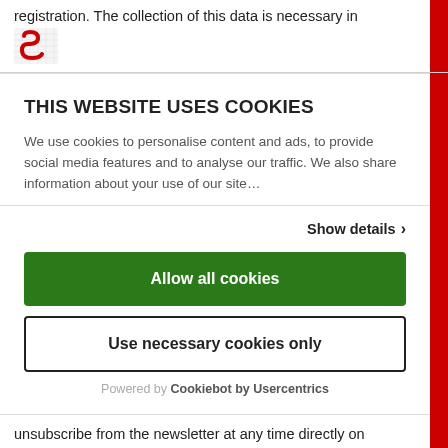registration. The collection of this data is necessary in
[Figure (logo): Schweizer logo - red S shape on white background with grid]
THIS WEBSITE USES COOKIES
We use cookies to personalise content and ads, to provide social media features and to analyse our traffic. We also share information about your use of our site...
Show details >
Allow all cookies
Use necessary cookies only
Powered by Cookiebot by Usercentrics
unsubscribe from the newsletter at any time directly on